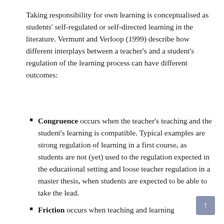Taking responsibility for own learning is conceptualised as students' self-regulated or self-directed learning in the literature. Vermunt and Verloop (1999) describe how different interplays between a teacher's and a student's regulation of the learning process can have different outcomes:
Congruence occurs when the teacher's teaching and the student's learning is compatible. Typical examples are strong regulation of learning in a first course, as students are not (yet) used to the regulation expected in the educational setting and loose teacher regulation in a master thesis, when students are expected to be able to take the lead.
Friction occurs when teaching and learning